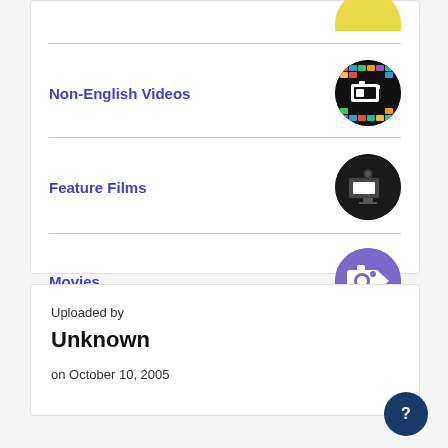Non-English Videos
Feature Films
Movies
Uploaded by
Unknown
on October 10, 2005